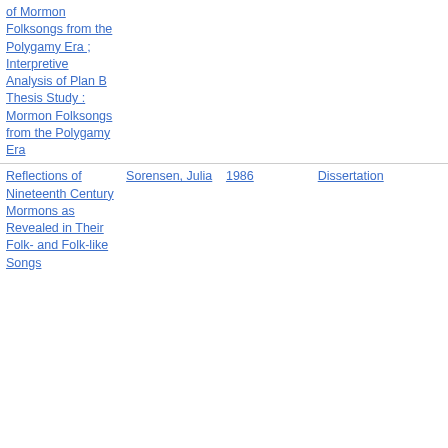| Title | Author | Year | Type |
| --- | --- | --- | --- |
| of Mormon Folksongs from the Polygamy Era ; Interpretive Analysis of Plan B Thesis Study : Mormon Folksongs from the Polygamy Era |  |  |  |
| Reflections of Nineteenth Century Mormons as Revealed in Their Folk- and Folk-like Songs | Sorensen, Julia | 1986 | Dissertation |